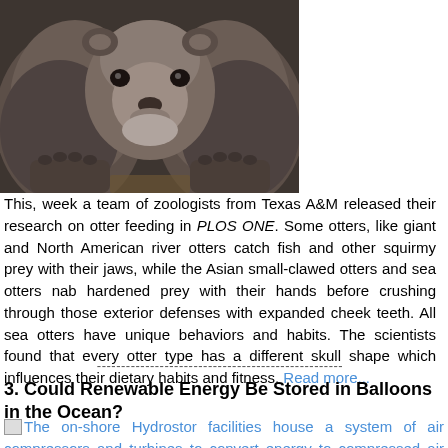[Figure (photo): Close-up photo of an otter's face and paws, showing dark fur and the animal looking forward]
This, week a team of zoologists from Texas A&M released their research on otter feeding in PLOS ONE. Some otters, like giant and North American river otters catch fish and other squirmy prey with their jaws, while the Asian small-clawed otters and sea otters nab hardened prey with their hands before crushing through those exterior defenses with expanded cheek teeth. All sea otters have unique behaviors and habits. The scientists found that every otter type has a different skull shape which influences their dietary habits and fitness. Read more...
---------------------------------------------------
3. Could Renewable Energy Be Stored in Balloons in the Ocean?
[Figure (photo): Broken image placeholder for Hydrostor facilities photo]
The on-shore Hydrostor facilities house a system of air compressors and turbines to convert energy to compressed air and back.